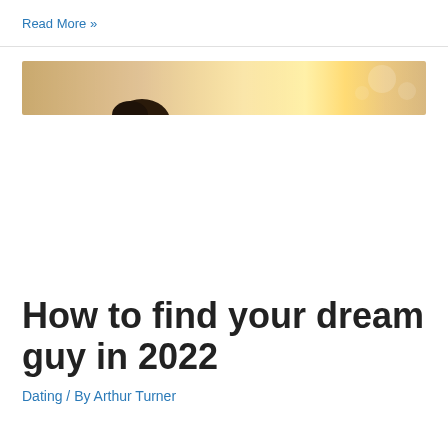Read More »
[Figure (photo): A person seen from behind or side, with warm golden/orange backlight blur effect in the background]
How to find your dream guy in 2022
Dating / By Arthur Turner